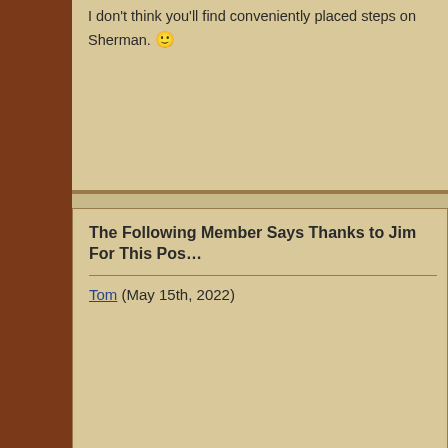I don't think you'll find conveniently placed steps on Sherman. 🙂
The Following Member Says Thanks to Jim For This Pos...
Tom (May 15th, 2022)
May 15th, 2022
[Figure (photo): A light blue/teal vintage Jeep CJ parked in a field with pine trees and snow-capped mountains in the background]
FINOCJ is OFFLINE
[Figure (logo): 2021 Wheeler logo with decorative text]
Join D...
Memb...
Last C...
Locati...
Age:
4x4:
Posts:
User N...
Real N...
Thank...
Thank...
BACK TO TOP